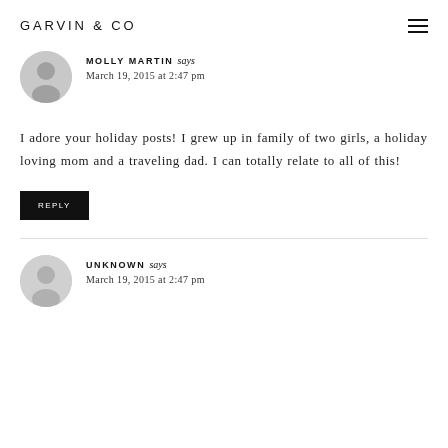GARVIN & CO
MOLLY MARTIN says
March 19, 2015 at 2:47 pm
I adore your holiday posts! I grew up in family of two girls, a holiday loving mom and a traveling dad. I can totally relate to all of this!
REPLY
UNKNOWN says
March 19, 2015 at 2:47 pm